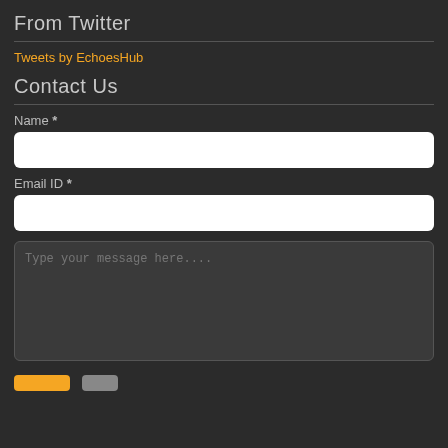From Twitter
Tweets by EchoesHub
Contact Us
Name *
Email ID *
Type your message here....